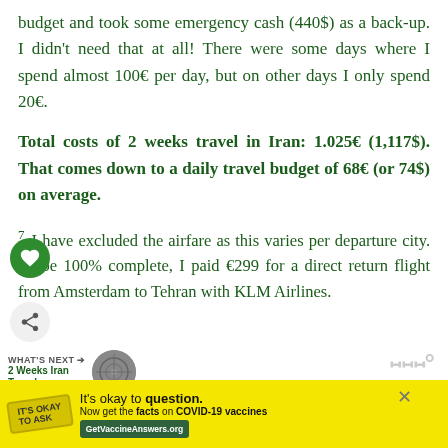budget and took some emergency cash (440$) as a back-up. I didn't need that at all! There were some days where I spend almost 100€ per day, but on other days I only spend 20€.
Total costs of 2 weeks travel in Iran: 1.025€ (1,117$). That comes down to a daily travel budget of 68€ (or 74$) on average.
7 I have excluded the airfare as this varies per departure city. To be 100% complete, I paid €299 for a direct return flight from Amsterdam to Tehran with KLM Airlines.
WHAT'S NEXT → 2 Weeks Iran Travel...
It's okay to question. Now get the facts on COVID-19 vaccines GetVaccineAnswers.org